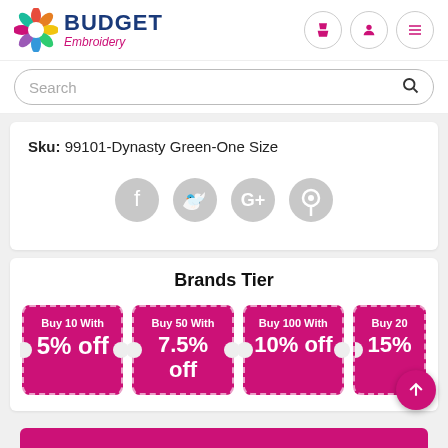BUDGET Embroidery
Search
Sku: 99101-Dynasty Green-One Size
[Figure (illustration): Social media share icons: Facebook, Twitter, Google+, Pinterest — all in light grey circular buttons]
Brands Tier
Buy 10 With 5% off | Buy 50 With 7.5% off | Buy 100 With 10% off | Buy 200 With 15% off